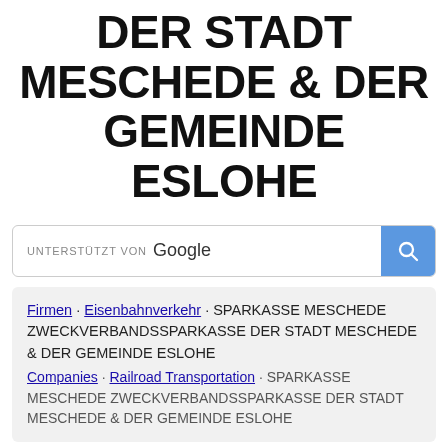DER STADT MESCHEDE & DER GEMEINDE ESLOHE
[Figure (screenshot): Google search bar with 'UNTERSTÜTZT VON Google' label and blue search button]
Firmen · Eisenbahnverkehr · SPARKASSE MESCHEDE ZWECKVERBANDSSPARKASSE DER STADT MESCHEDE & DER GEMEINDE ESLOHE
Companies · Railroad Transportation · SPARKASSE MESCHEDE ZWECKVERBANDSSPARKASSE DER STADT MESCHEDE & DER GEMEINDE ESLOHE
Eisenbahnen, Line-Haul-Betrieb Railroads, line-haul operating
Vermittlungs- und Terminaldienste Switching and terminal services